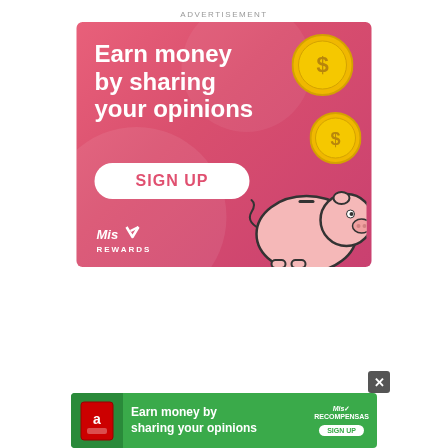ADVERTISEMENT
[Figure (illustration): Pink advertisement banner for Miss Rewards featuring text 'Earn money by sharing your opinions', a SIGN UP button, gold coins, a piggy bank illustration, and the Miss Rewards logo.]
[Figure (illustration): Green bottom banner ad for Miss Rewards with text 'Earn money by sharing your opinions' and a SIGN UP button, with a close button (X).]